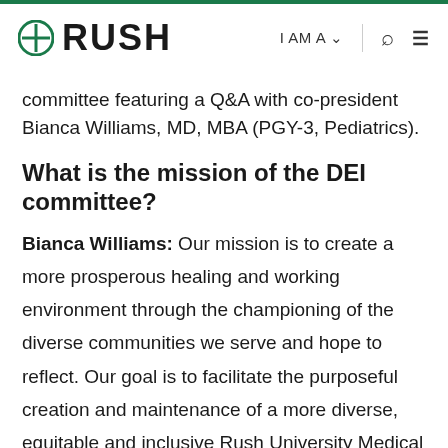RUSH | I AM A | [search] [menu]
committee featuring a Q&A with co-president Bianca Williams, MD, MBA (PGY-3, Pediatrics).
What is the mission of the DEI committee?
Bianca Williams: Our mission is to create a more prosperous healing and working environment through the championing of the diverse communities we serve and hope to reflect. Our goal is to facilitate the purposeful creation and maintenance of a more diverse, equitable and inclusive Rush University Medical Center.